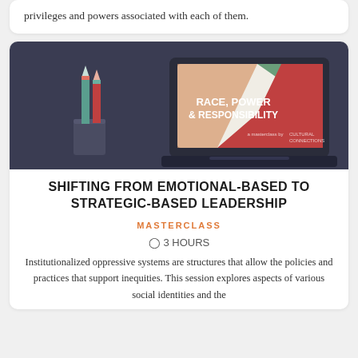privileges and powers associated with each of them.
[Figure (photo): Laptop showing a presentation slide titled 'Race, Power & Responsibility - a masterclass by Cultural Connections' with colored diagonal stripes (green, red, orange), alongside two pencils in a glass on a dark blue-grey background.]
SHIFTING FROM EMOTIONAL-BASED TO STRATEGIC-BASED LEADERSHIP
MASTERCLASS
⊙ 3 HOURS
Institutionalized oppressive systems are structures that allow the policies and practices that support inequities. This session explores aspects of various social identities and the